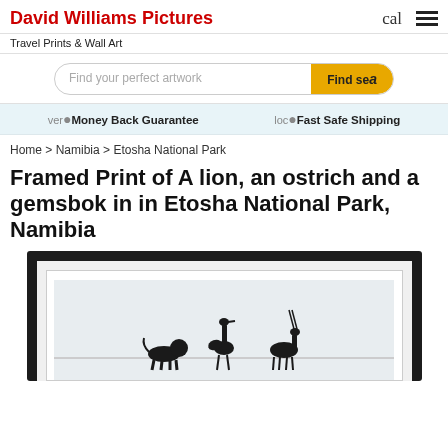David Williams Pictures
Travel Prints & Wall Art
[Figure (screenshot): Search bar with placeholder 'Find your perfect artwork' and yellow 'Find se...' button]
ver Money Back Guarantee   loc Fast Safe Shipping
Home > Namibia > Etosha National Park
Framed Print of A lion, an ostrich and a gemsbok in in Etosha National Park, Namibia
[Figure (photo): Partial view of a black framed print showing wildlife silhouettes (ostrich and other animals) in Etosha National Park, Namibia]